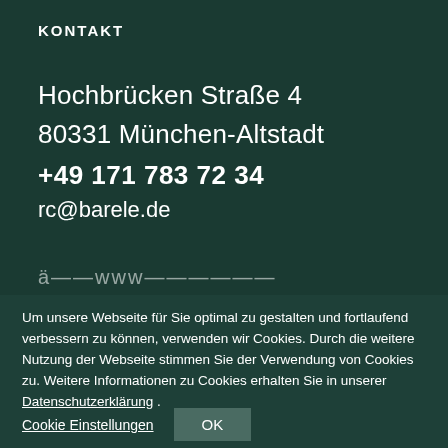KONTAKT
Hochbrücken Straße 4
80331 München-Altstadt
+49 171 783 72 34
rc@barele.de
ä̈——www——————
Um unsere Webseite für Sie optimal zu gestalten und fortlaufend verbessern zu können, verwenden wir Cookies. Durch die weitere Nutzung der Webseite stimmen Sie der Verwendung von Cookies zu. Weitere Informationen zu Cookies erhalten Sie in unserer Datenschutzerklärung .
Cookie Einstellungen
OK